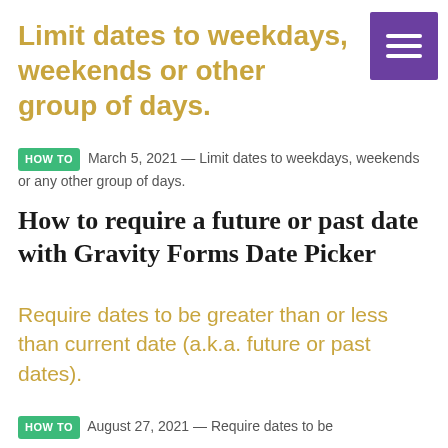Limit dates to weekdays, weekends or other group of days.
HOW TO  March 5, 2021 — Limit dates to weekdays, weekends or any other group of days.
How to require a future or past date with Gravity Forms Date Picker
Require dates to be greater than or less than current date (a.k.a. future or past dates).
HOW TO  August 27, 2021 — Require dates to be greater than or less than current date (a.k.a. future or past dates).